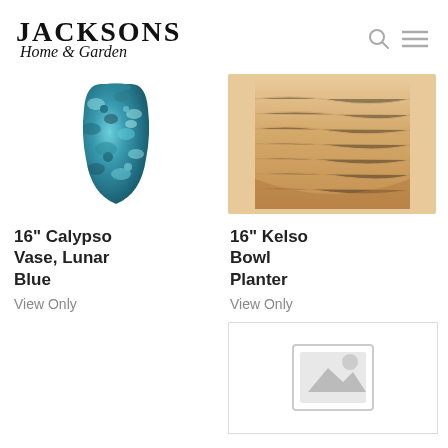Jacksons Home & Garden
[Figure (photo): 16 inch Calypso Vase in Lunar Blue color - teal/blue mottled ceramic vase]
16" Calypso Vase, Lunar Blue
View Only
[Figure (photo): 16 inch Kelso Bowl Planter - light wood grain bowl]
16" Kelso Bowl Planter
View Only
[Figure (other): Placeholder image with no-image icon]